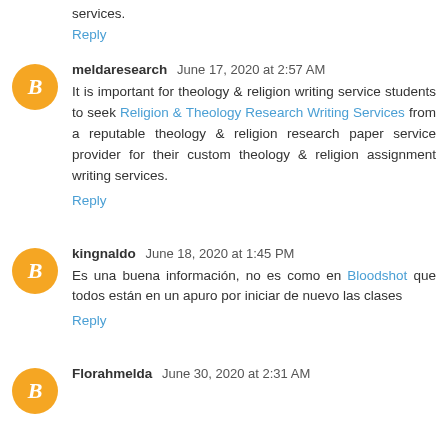services.
Reply
meldaresearch June 17, 2020 at 2:57 AM
It is important for theology & religion writing service students to seek Religion & Theology Research Writing Services from a reputable theology & religion research paper service provider for their custom theology & religion assignment writing services.
Reply
kingnaldo June 18, 2020 at 1:45 PM
Es una buena información, no es como en Bloodshot que todos están en un apuro por iniciar de nuevo las clases
Reply
Florahmelda June 30, 2020 at 2:31 AM